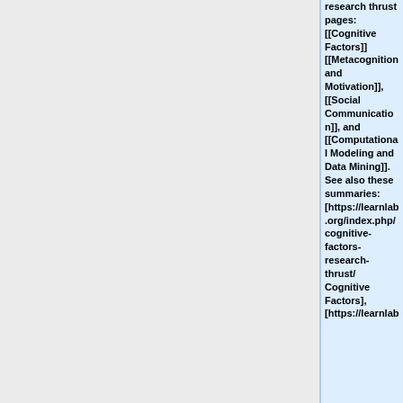research thrust pages: [[Cognitive Factors]] [[Metacognition and Motivation]], [[Social Communication]], and [[Computational Modeling and Data Mining]]. See also these summaries: [https://learnlab.org/index.php/cognitive-factors-research-thrust/ Cognitive Factors], [https://learnlab